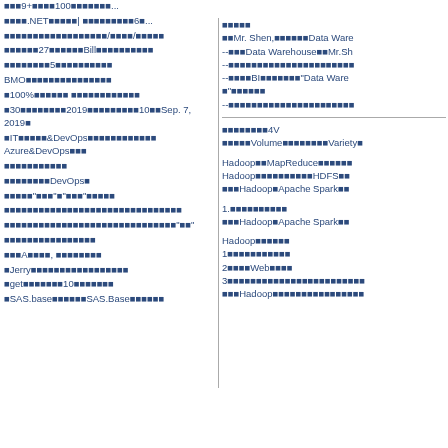[CJK]9+[CJK]100[CJK]...
[CJK].NET[CJK]| [CJK]6...
[CJK]/[CJK]/[CJK]
[CJK]27[CJK]Bill[CJK]
[CJK]5[CJK]
BMO[CJK]
[CJK]100%[CJK] [CJK]
[CJK]30[CJK]2019[CJK]10[CJK]Sep. 7, 2019[CJK]
[CJK]IT[CJK]&DevOps[CJK] Azure&DevOps[CJK]
[CJK]
[CJK]DevOps[CJK]
[CJK]"[CJK]"[CJK]"[CJK]"[CJK]
[CJK]
[CJK]"[CJK]"
[CJK]
[CJK]A[CJK], [CJK]
[CJK]Jerry[CJK]
[CJK]get[CJK]10[CJK]
[CJK]SAS.base[CJK]SAS.Base[CJK]
[CJK]
Mr. Shen,[CJK]Data Ware
--[CJK]Data Warehouse[CJK]Mr.Sh
--[CJK]
--[CJK]BI[CJK]"Data Ware[CJK]"[CJK]
--[CJK]
[CJK]4V
[CJK]Volume[CJK]Variety[CJK]
Hadoop[CJK]MapReduce[CJK]
Hadoop[CJK]HDFS[CJK]
[CJK]Hadoop[CJK]Apache Spark[CJK]
1.[CJK]
[CJK]Hadoop[CJK]Apache Spark[CJK]
Hadoop[CJK]
1[CJK]
2[CJK]Web[CJK]
3[CJK]
[CJK]Hadoop[CJK]